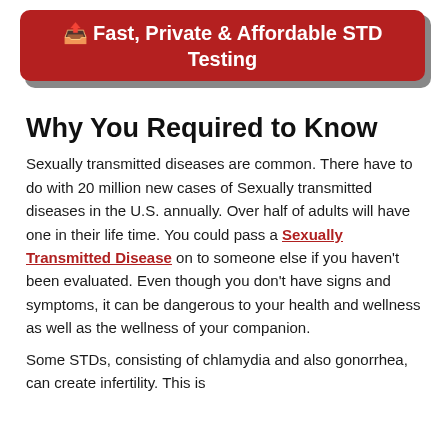[Figure (other): Red banner button with share icon reading 'Fast, Private & Affordable STD Testing']
Why You Required to Know
Sexually transmitted diseases are common. There have to do with 20 million new cases of Sexually transmitted diseases in the U.S. annually. Over half of adults will have one in their life time. You could pass a Sexually Transmitted Disease on to someone else if you haven't been evaluated. Even though you don't have signs and symptoms, it can be dangerous to your health and wellness as well as the wellness of your companion.
Some STDs, consisting of chlamydia and also gonorrhea, can create infertility. This is